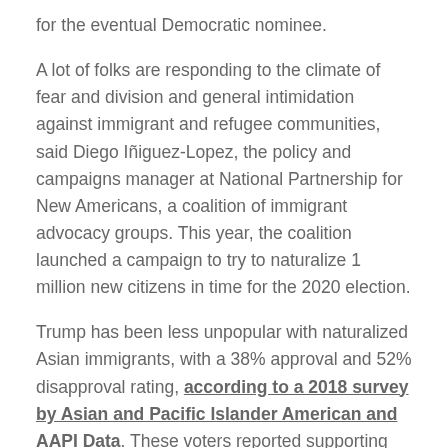for the eventual Democratic nominee.
A lot of folks are responding to the climate of fear and division and general intimidation against immigrant and refugee communities, said Diego Iñiguez-Lopez, the policy and campaigns manager at National Partnership for New Americans, a coalition of immigrant advocacy groups. This year, the coalition launched a campaign to try to naturalize 1 million new citizens in time for the 2020 election.
Trump has been less unpopular with naturalized Asian immigrants, with a 38% approval and 52% disapproval rating, according to a 2018 survey by Asian and Pacific Islander American and AAPI Data. These voters reported supporting Hillary Clinton over Trump by 48% to 28%.